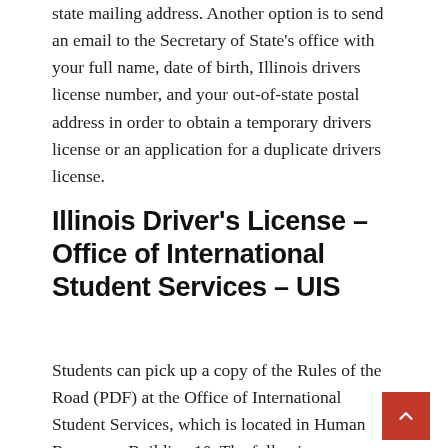state mailing address. Another option is to send an email to the Secretary of State's office with your full name, date of birth, Illinois drivers license number, and your out-of-state postal address in order to obtain a temporary drivers license or an application for a duplicate drivers license.
Illinois Driver's License – Office of International Student Services – UIS
Students can pick up a copy of the Rules of the Road (PDF) at the Office of International Student Services, which is located in Human Resources Building 10. The following papers